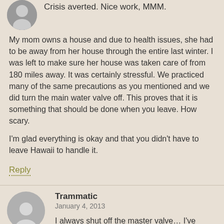[Figure (photo): Partial circular avatar image at top left, cropped]
Crisis averted. Nice work, MMM.
My mom owns a house and due to health issues, she had to be away from her house through the entire last winter. I was left to make sure her house was taken care of from 180 miles away. It was certainly stressful. We practiced many of the same precautions as you mentioned and we did turn the main water valve off. This proves that it is something that should be done when you leave. How scary.
I'm glad everything is okay and that you didn't have to leave Hawaii to handle it.
Reply
Trammatic
January 4, 2013
I always shut off the master valve… I've even had a couple of copper pipes corrode to the point of pinhole leaks in the last couple of years, so in my case, there are multiple possible failure points.
And, it really makes me appreciate PEX more, as it can handle multiple freeze/thaw cycles without problem. I always use the brass fittings, as I think they're probably